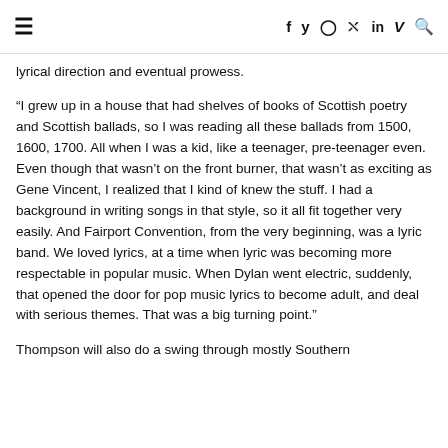≡  f  y  ⊙  ⊕  in  V  🔍
lyrical direction and eventual prowess.
“I grew up in a house that had shelves of books of Scottish poetry and Scottish ballads, so I was reading all these ballads from 1500, 1600, 1700. All when I was a kid, like a teenager, pre-teenager even. Even though that wasn’t on the front burner, that wasn’t as exciting as Gene Vincent, I realized that I kind of knew the stuff. I had a background in writing songs in that style, so it all fit together very easily. And Fairport Convention, from the very beginning, was a lyric band. We loved lyrics, at a time when lyric was becoming more respectable in popular music. When Dylan went electric, suddenly, that opened the door for pop music lyrics to become adult, and deal with serious themes. That was a big turning point.”
Thompson will also do a swing through mostly Southern